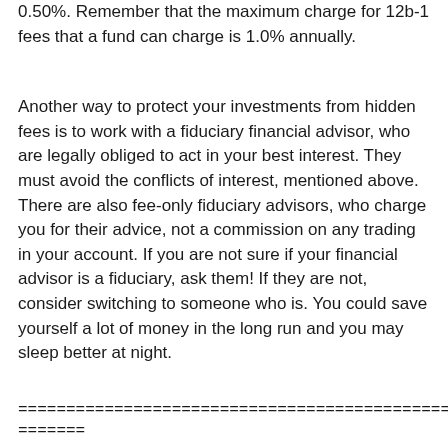0.50%. Remember that the maximum charge for 12b-1 fees that a fund can charge is 1.0% annually.
Another way to protect your investments from hidden fees is to work with a fiduciary financial advisor, who are legally obliged to act in your best interest. They must avoid the conflicts of interest, mentioned above. There are also fee-only fiduciary advisors, who charge you for their advice, not a commission on any trading in your account. If you are not sure if your financial advisor is a fiduciary, ask them! If they are not, consider switching to someone who is. You could save yourself a lot of money in the long run and you may sleep better at night.
================================================
=======